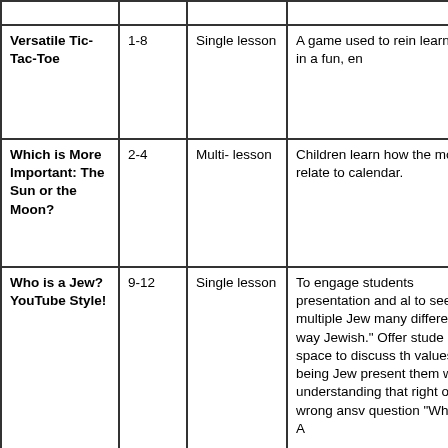|  |  |  |  |
| --- | --- | --- | --- |
| Versatile Tic-Tac-Toe | 1-8 | Single lesson | A game used to rein learning in a fun, en |
| Which is More Important: The Sun or the Moon? | 2-4 | Multi- lesson | Children learn how the moon relate to calendar. |
| Who is a Jew? YouTube Style! | 9-12 | Single lesson | To engage students presentation and al to see multiple Jew many different way Jewish." Offer stude space to discuss th values of being Jew present them with understanding that right or wrong ansv question "Who Is A |
| Why Mitzvot Are |  | Single lesson | This lesson teaches |